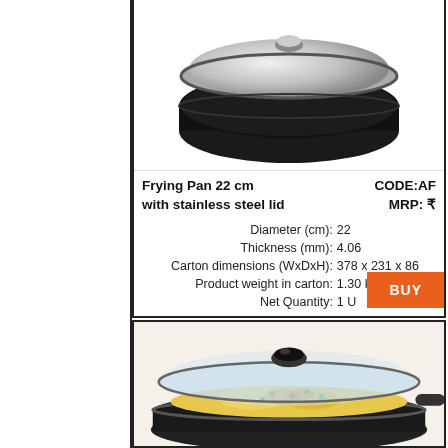[Figure (photo): Frying pan 22 cm with stainless steel lid - black pan with chrome/silver lid viewed from above]
Frying Pan 22 cm with stainless steel lid
CODE:AF
MRP: ₹
Diameter (cm): 22
Thickness (mm): 4.06
Carton dimensions (WxDxH): 378 x 231 x 86
Product weight in carton: 1.30 kg
Net Quantity: 1 U
[Figure (photo): Frying pan with glass lid containing cooked egg/omelette dish with vegetables, viewed from above at an angle]